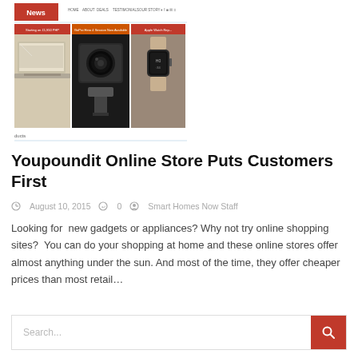[Figure (screenshot): Screenshot of a website showing a news badge, navigation bar, and three product banner images: a laptop, a GoPro camera, and an Apple Watch]
Youpoundit Online Store Puts Customers First
August 10, 2015    0    Smart Homes Now Staff
Looking for  new gadgets or appliances? Why not try online shopping sites?  You can do your shopping at home and these online stores offer almost anything under the sun. And most of the time, they offer cheaper prices than most retail…